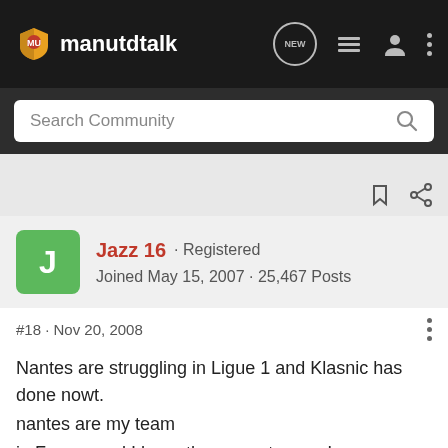manutdtalk
Search Community
Jazz 16 · Registered
Joined May 15, 2007 · 25,467 Posts
#18 · Nov 20, 2008
Nantes are struggling in Ligue 1 and Klasnic has done nowt. nantes are my team
in France and I hope they can stay up. I was expecting more from Klasnic. Oh well.